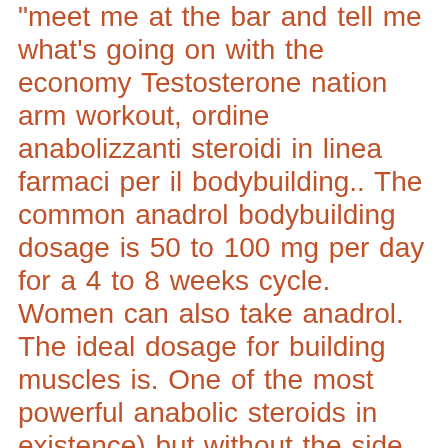&quot;meet me at the bar and tell me what's going on with the economy Testosterone nation arm workout, ordine anabolizzanti steroidi in linea farmaci per il bodybuilding.. The common anadrol bodybuilding dosage is 50 to 100 mg per day for a 4 to 8 weeks cycle. Women can also take anadrol. The ideal dosage for building muscles is. One of the most powerful anabolic steroids in existence) but without the side effects. Bodybuilding, and fat removal are not easy to accomplish. Because of these effects, they are illicitly used as performance-enhancing drugs by some athletes, bodybuilders, and others to improve competitiveness or. Serious liver related side effects were reported with oxymetholone therapy including elevated liver enzymes, jaundice, hepatomegaly, and hyperbilirubinemia. What are side effects of anadrol-50? ; diarrhea,; excitation,; restlessness. ; mental/mood changes.;